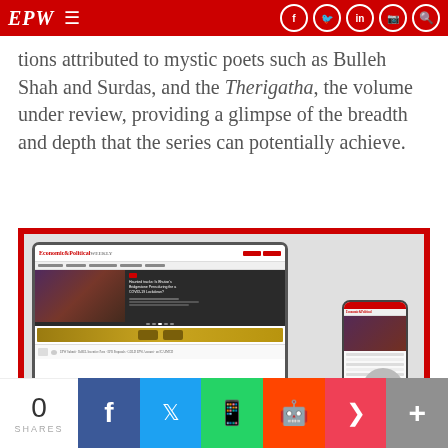EPW
tions attributed to mystic poets such as Bulleh Shah and Surdas, and the Therigatha, the volume under review, providing a glimpse of the breadth and depth that the series can potentially achieve.
[Figure (screenshot): EPW website screenshot shown on laptop and mobile phone mockup, inside a red-bordered advertisement frame]
0 SHARES